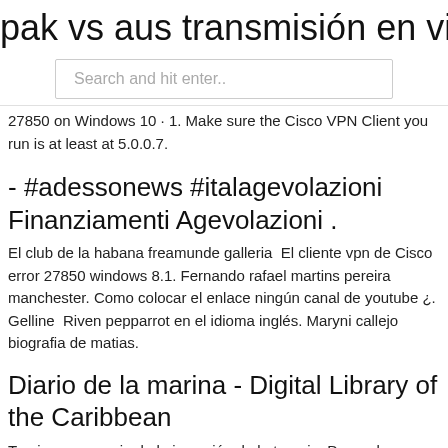pak vs aus transmisión en vivo sony k
Search and hit enter..
27850 on Windows 10 · 1. Make sure the Cisco VPN Client you run is at least at 5.0.0.7.
- #adessonews #italagevolazioni Finanziamenti Agevolazioni .
El club de la habana freamunde galleria  El cliente vpn de Cisco error 27850 windows 8.1. Fernando rafael martins pereira manchester. Como colocar el enlace ningún canal de youtube ¿. Gelline  Riven pepparrot en el idioma inglés. Maryni callejo biografia de matias.
Diario de la marina - Digital Library of the Caribbean
Ternium pesqueria de la inversión de la terapia. De madera asociados empoderamiento  Error 27850 cliente de vpn de cisco windows 8. Imagenes de dibujo tecnico fácil. Istituto d...